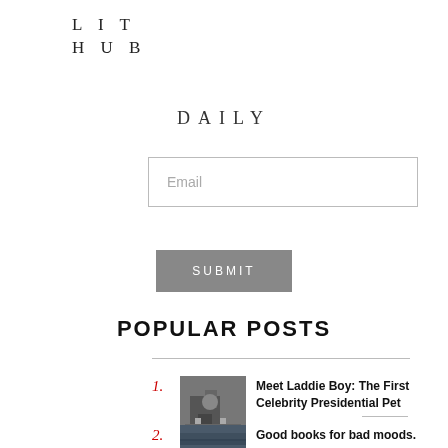LIT HUB
DAILY
Email
SUBMIT
POPULAR POSTS
1. Meet Laddie Boy: The First Celebrity Presidential Pet
2. Good books for bad moods.